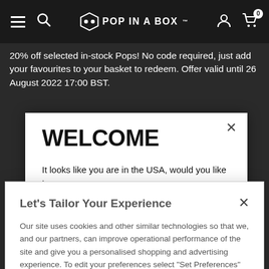POP IN A BOX — navigation bar with hamburger menu, search, logo, account and cart icons
20% off selected in-stock Pops! No code required, just add your favourites to your basket to redeem. Offer valid until 26 August 2022 17:00 BST.
WELCOME
It looks like you are in the USA, would you like to see our US site with $USD currency?
Let's Tailor Your Experience
Our site uses cookies and other similar technologies so that we, and our partners, can improve operational performance of the site and give you a personalised shopping and advertising experience. To edit your preferences select "Set Preferences" where you can change these at any time. Find out more information here.
Set Preferences | That's OK